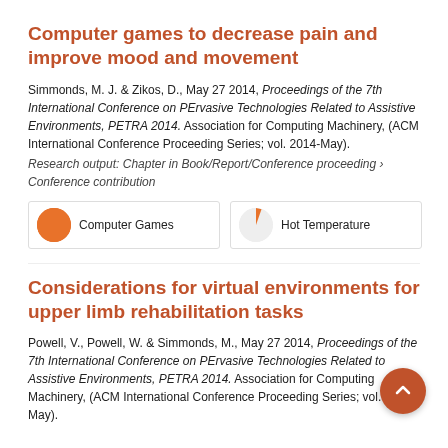Computer games to decrease pain and improve mood and movement
Simmonds, M. J. & Zikos, D., May 27 2014, Proceedings of the 7th International Conference on PErvasive Technologies Related to Assistive Environments, PETRA 2014. Association for Computing Machinery, (ACM International Conference Proceeding Series; vol. 2014-May).
Research output: Chapter in Book/Report/Conference proceeding › Conference contribution
[Figure (infographic): Two badge boxes side by side. Left: full orange circle badge labeled 'Computer Games'. Right: small orange slice (~10%) on grey circle labeled 'Hot Temperature'.]
Considerations for virtual environments for upper limb rehabilitation tasks
Powell, V., Powell, W. & Simmonds, M., May 27 2014, Proceedings of the 7th International Conference on PErvasive Technologies Related to Assistive Environments, PETRA 2014. Association for Computing Machinery, (ACM International Conference Proceeding Series; vol. 2014-May).